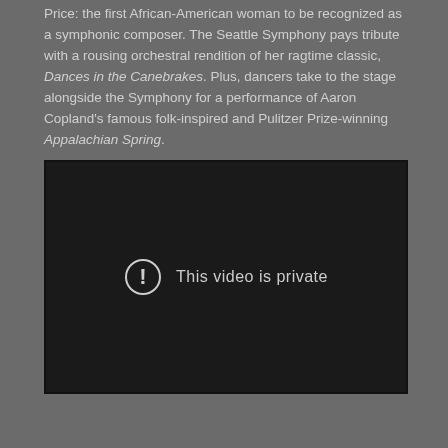Price: the first African-American woman to be recognized as a symphonic composer. The Seattle Symphony pays tribute with a rousing orchestral rendition of her ragtime classic, Dances in the Canebrakes. Plus, dancers take to the stage alongside the Symphony for a performance of Aaron Copland's famous folk-inspired and Pulitzer Prize-winning Appalachian Spring.
[Figure (screenshot): Embedded video player showing a private video message: a circle with exclamation mark icon and text 'This video is private']